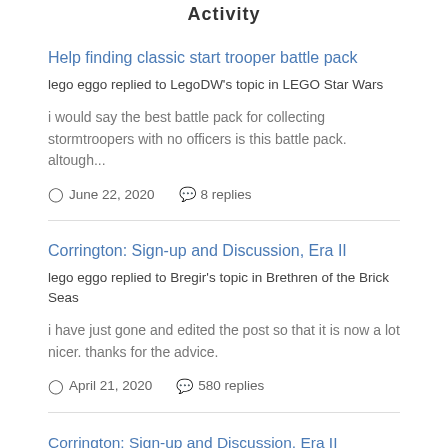Activity
Help finding classic start trooper battle pack
lego eggo replied to LegoDW's topic in LEGO Star Wars
i would say the best battle pack for collecting stormtroopers with no officers is this battle pack. altough...
June 22, 2020   8 replies
Corrington: Sign-up and Discussion, Era II
lego eggo replied to Bregir's topic in Brethren of the Brick Seas
i have just gone and edited the post so that it is now a lot nicer. thanks for the advice.
April 21, 2020   580 replies
Corrington: Sign-up and Discussion, Era II